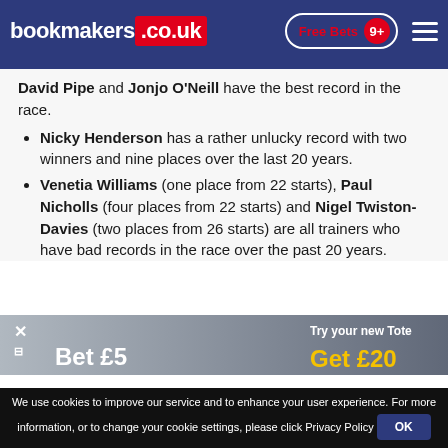bookmakers.co.uk | Free Bets 9+
David Pipe and Jonjo O'Neill have the best record in the race.
Nicky Henderson has a rather unlucky record with two winners and nine places over the last 20 years.
Venetia Williams (one place from 22 starts), Paul Nicholls (four places from 22 starts) and Nigel Twiston-Davies (two places from 26 starts) are all trainers who have bad records in the race over the past 20 years.
[Figure (screenshot): Tote advertisement banner showing a woman and promotional text 'Try your new Tote' with yellow and white text showing bet amounts.]
We use cookies to improve our service and to enhance your user experience. For more information, or to change your cookie settings, please click Privacy Policy  OK